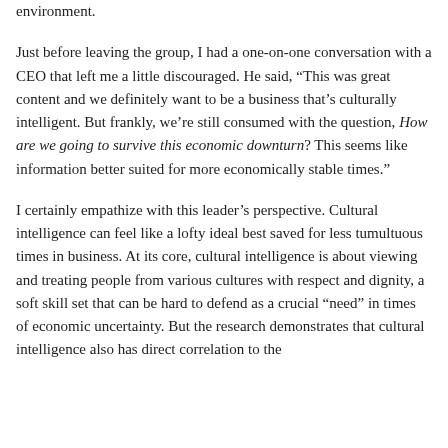environment.
Just before leaving the group, I had a one-on-one conversation with a CEO that left me a little discouraged. He said, “This was great content and we definitely want to be a business that’s culturally intelligent. But frankly, we’re still consumed with the question, How are we going to survive this economic downturn? This seems like information better suited for more economically stable times.”
I certainly empathize with this leader’s perspective. Cultural intelligence can feel like a lofty ideal best saved for less tumultuous times in business. At its core, cultural intelligence is about viewing and treating people from various cultures with respect and dignity, a soft skill set that can be hard to defend as a crucial “need” in times of economic uncertainty. But the research demonstrates that cultural intelligence also has direct correlation to the